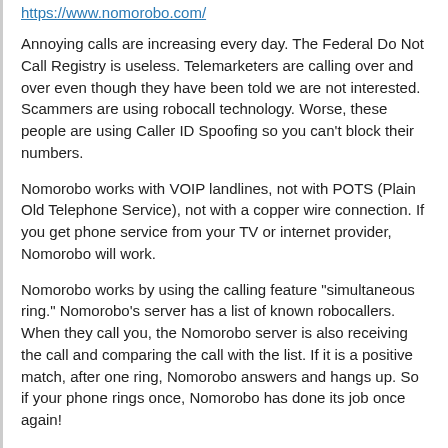https://www.nomorobo.com/
Annoying calls are increasing every day. The Federal Do Not Call Registry is useless. Telemarketers are calling over and over even though they have been told we are not interested. Scammers are using robocall technology. Worse, these people are using Caller ID Spoofing so you can't block their numbers.
Nomorobo works with VOIP landlines, not with POTS (Plain Old Telephone Service), not with a copper wire connection. If you get phone service from your TV or internet provider, Nomorobo will work.
Nomorobo works by using the calling feature "simultaneous ring." Nomorobo's server has a list of known robocallers. When they call you, the Nomorobo server is also receiving the call and comparing the call with the list. If it is a positive match, after one ring, Nomorobo answers and hangs up. So if your phone rings once, Nomorobo has done its job once again!
I have used Nomorobo on my landline for about a year and it has been invaluable. I have been waiting for the same thing for my cell phone. This has not happened